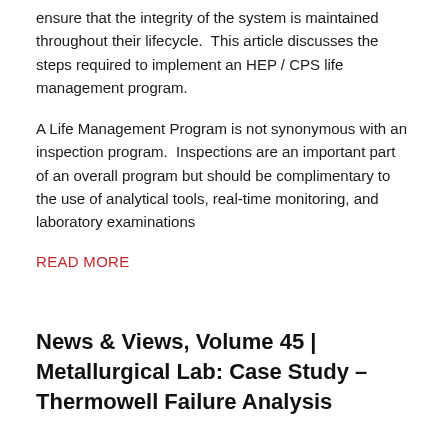ensure that the integrity of the system is maintained throughout their lifecycle.  This article discusses the steps required to implement an HEP / CPS life management program.
A Life Management Program is not synonymous with an inspection program.  Inspections are an important part of an overall program but should be complimentary to the use of analytical tools, real-time monitoring, and laboratory examinations
READ MORE
News & Views, Volume 45 | Metallurgical Lab: Case Study – Thermowell Failure Analysis